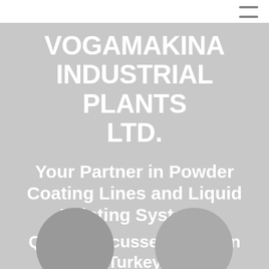VOGAMAKINA INDUSTRIAL PLANTS LTD.
Your Partner in Powder Coating Lines and Liquid Painting Systems
Quality Focussed, Made in Turkey
[Figure (illustration): Two circular decorative elements at the bottom left and bottom right of the page]